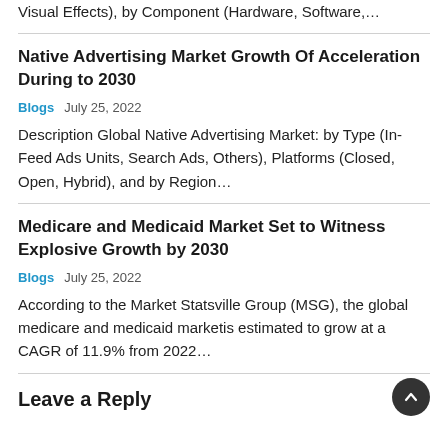Visual Effects), by Component (Hardware, Software,…
Native Advertising Market Growth Of Acceleration During to 2030
Blogs   July 25, 2022
Description Global Native Advertising Market: by Type (In-Feed Ads Units, Search Ads, Others), Platforms (Closed, Open, Hybrid), and by Region…
Medicare and Medicaid Market Set to Witness Explosive Growth by 2030
Blogs   July 25, 2022
According to the Market Statsville Group (MSG), the global medicare and medicaid marketis estimated to grow at a CAGR of 11.9% from 2022…
Leave a Reply